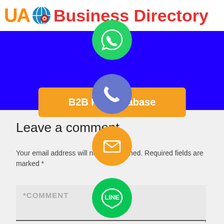UA Business Directory
[Figure (logo): UA Business Directory logo with orange UA text, globe icon, and red Business Directory text]
[Figure (illustration): Green WhatsApp icon circle with phone handset]
[Figure (illustration): Blue/purple phone call icon circle]
B2B Fax Database
[Figure (illustration): Orange email/envelope icon circle]
[Figure (illustration): Green LINE messaging app icon circle]
[Figure (illustration): Purple Viber icon circle]
[Figure (illustration): Green close/X button circle]
Leave a comment
Your email address will not be published. Required fields are marked *
*COMMENT